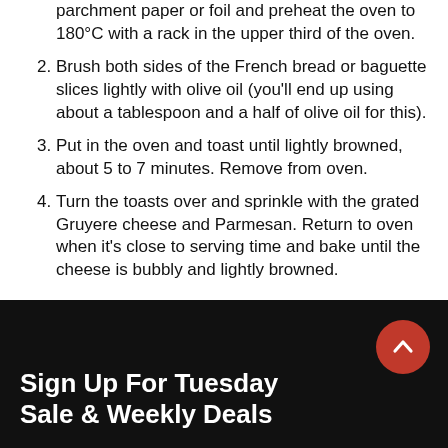parchment paper or foil and preheat the oven to 180°C with a rack in the upper third of the oven.
2. Brush both sides of the French bread or baguette slices lightly with olive oil (you'll end up using about a tablespoon and a half of olive oil for this).
3. Put in the oven and toast until lightly browned, about 5 to 7 minutes. Remove from oven.
4. Turn the toasts over and sprinkle with the grated Gruyere cheese and Parmesan. Return to oven when it's close to serving time and bake until the cheese is bubbly and lightly browned.
Serve
1. To serve, ladle soup into a bowl and transfer one cheesy toast onto the top of each bowl of soup.
Sign Up For Tuesday Sale & Weekly Deals